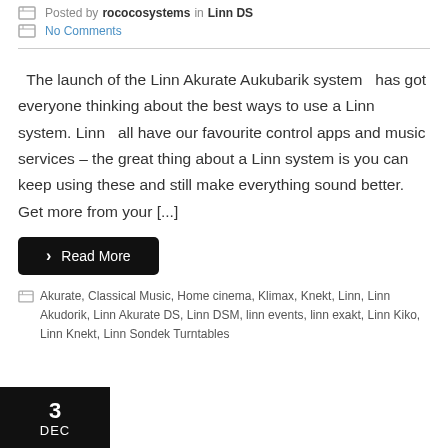Posted by rococosystems in Linn DS
No Comments
The launch of the Linn Akurate Aukubarik system   has got everyone thinking about the best ways to use a Linn system. Linn  all have our favourite control apps and music services – the great thing about a Linn system is you can keep using these and still make everything sound better. Get more from your [...]
› Read More
Akurate, Classical Music, Home cinema, Klimax, Knekt, Linn, Linn Akudorik, Linn Akurate DS, Linn DSM, linn events, linn exakt, Linn Kiko, Linn Knekt, Linn Sondek Turntables
3 DEC